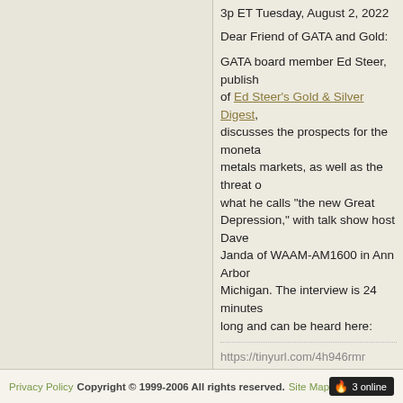3p ET Tuesday, August 2, 2022
Dear Friend of GATA and Gold:
GATA board member Ed Steer, publisher of Ed Steer's Gold & Silver Digest, discusses the prospects for the monetary metals markets, as well as the threat of what he calls "the new Great Depression," with talk show host Dave Janda of WAAM-AM1600 in Ann Arbor, Michigan. The interview is 24 minutes long and can be heard here:
https://tinyurl.com/4h946rmr
» read more
« first ‹ previous 1 2 3 4 5 6 7 8 9 … next › last »
Privacy Policy Copyright © 1999-2006 All rights reserved. Site Map  3 online